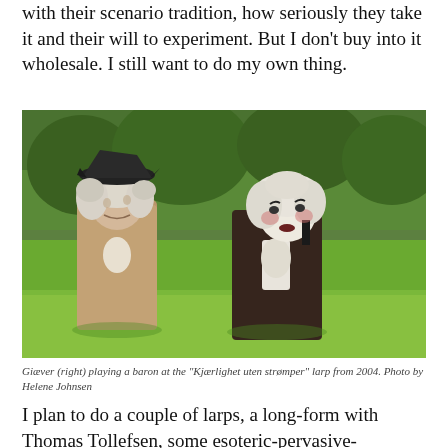with their scenario tradition, how seriously they take it and their will to experiment. But I don't buy into it wholesale. I still want to do my own thing.
[Figure (photo): Two people in 18th-century period costumes with white powdered wigs standing outdoors in a green field. The person on the left wears a tricorn hat and floral jacket; the person on the right wears a dark embroidered jacket.]
Giæver (right) playing a baron at the "Kjærlighet uten strømper" larp from 2004. Photo by Helene Johnsen
I plan to do a couple of larps, a long-form with Thomas Tollefsen, some esoteric-pervasive-personal-mindfuckery